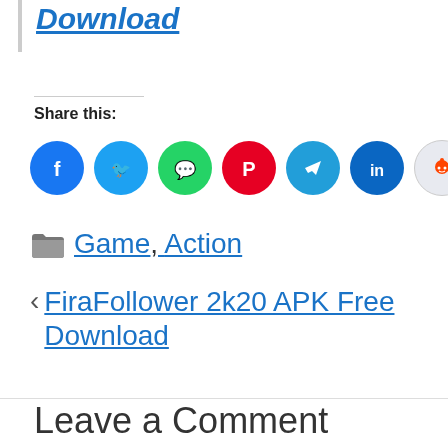Download
Share this:
[Figure (other): Row of social sharing icon buttons: Facebook (blue), Twitter (blue), WhatsApp (green), Pinterest (red), Telegram (blue), LinkedIn (dark blue), Reddit (light gray), Print (gray)]
Game, Action
< FiraFollower 2k20 APK Free Download
Leave a Comment